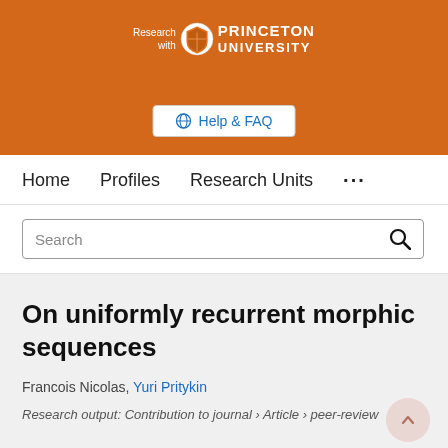Research with Princeton University — Help & FAQ — Home | Profiles | Research Units
On uniformly recurrent morphic sequences
Francois Nicolas, Yuri Pritykin
Research output: Contribution to journal › Article › peer-review